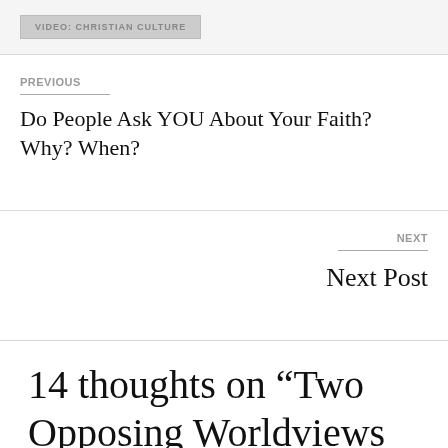VIDEO: CHRISTIAN CULTURE
PREVIOUS
Do People Ask YOU About Your Faith? Why? When?
NEXT
Next Post
14 thoughts on “Two Opposing Worldviews Cannot Coexist”